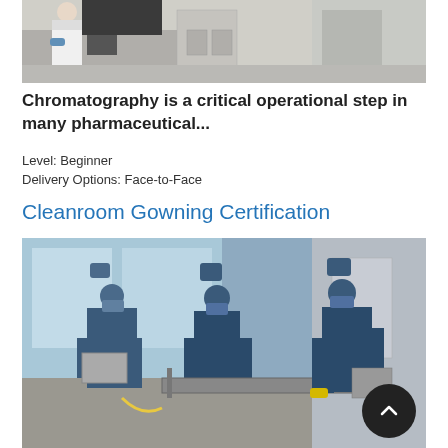[Figure (photo): Laboratory setting with scientists in white lab coats working with chromatography equipment on counters]
Chromatography is a critical operational step in many pharmaceutical...
Level: Beginner
Delivery Options: Face-to-Face
Cleanroom Gowning Certification
[Figure (photo): Workers in blue cleanroom gowning suits, masks, and caps operating pharmaceutical manufacturing equipment in a cleanroom environment]